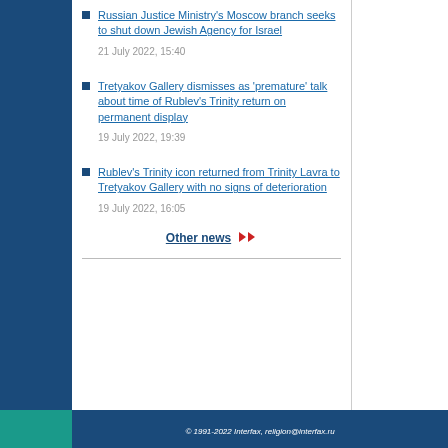Russian Justice Ministry's Moscow branch seeks to shut down Jewish Agency for Israel — 21 July 2022, 15:40
Tretyakov Gallery dismisses as 'premature' talk about time of Rublev's Trinity return on permanent display — 19 July 2022, 19:39
Rublev's Trinity icon returned from Trinity Lavra to Tretyakov Gallery with no signs of deterioration — 19 July 2022, 16:05
Other news ▶▶
© 1991-2022 Interfax, religion@interfax.ru